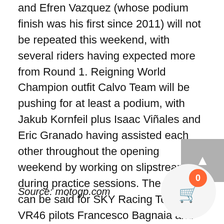and Efren Vazquez (whose podium finish was his first since 2011) will not be repeated this weekend, with several riders having expected more from Round 1. Reigning World Champion outfit Calvo Team will be pushing for at least a podium, with Jakub Kornfeil plus Isaac Viñales and Eric Granado having assisted each other throughout the opening weekend by working on slipstreaming during practice sessions. The same can be said for SKY Racing Team by VR46 pilots Francesco Bagnaia and Romano Fenati. After topping all practice sessions, the latter was particularly disappointed to end the opening race 12th; in Texas he hopes not to be plagued by more chatter issues.
Source: motogp.com